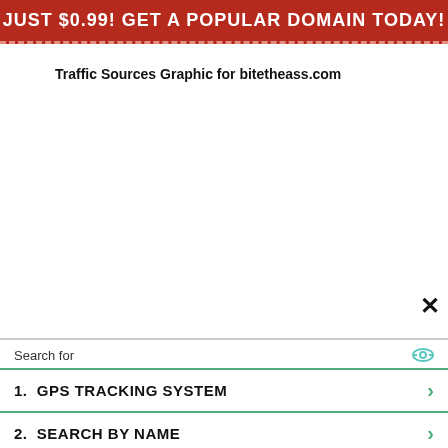JUST $0.99! GET A POPULAR DOMAIN TODAY!
Traffic Sources Graphic for bitetheass.com
[Figure (other): Empty white area where a traffic sources graphic would appear, with an X close button in the lower right]
Search for
1.  GPS TRACKING SYSTEM
2.  SEARCH BY NAME
Yahoo! Search | Sponsored